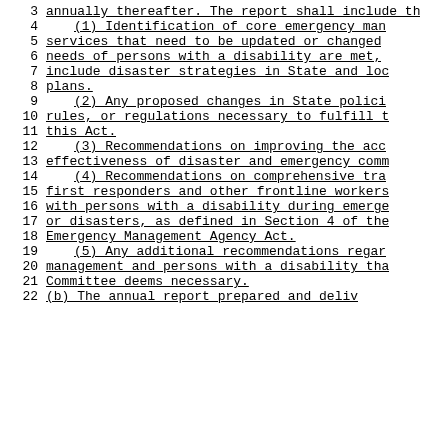3  annually thereafter. The report shall include th
4      (1) Identification of core emergency man
5  services that need to be updated or changed
6  needs of persons with a disability are met,
7  include disaster strategies in State and loc
8  plans.
9      (2) Any proposed changes in State polici
10 rules, or regulations necessary to fulfill t
11 this Act.
12     (3) Recommendations on improving the acc
13 effectiveness of disaster and emergency comm
14     (4) Recommendations on comprehensive tra
15 first responders and other frontline workers
16 with persons with a disability during emerge
17 or disasters, as defined in Section 4 of the
18 Emergency Management Agency Act.
19     (5) Any additional recommendations regar
20 management and persons with a disability tha
21 Committee deems necessary.
22 (b) The annual report prepared and deliv